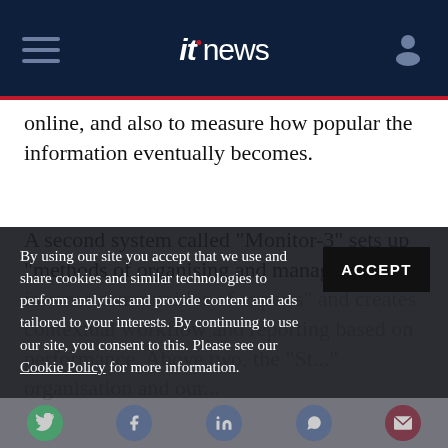itnews
online, and also to measure how popular the information eventually becomes.
A second system called "Monitor-3" sets up "methods of organising and managing virtual internet communities of experts" and creates contextual workflow and reporting based on performance. Above two, the "St..." organisation and our...
By using our site you accept that we use and share cookies and similar technologies to perform analytics and provide content and ads tailored to your interests. By continuing to use our site, you consent to this. Please see our Cookie Policy for more information.